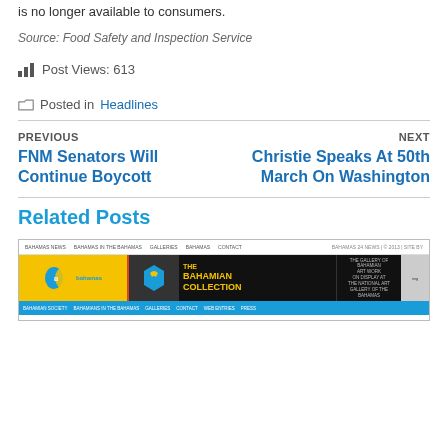is no longer available to consumers.
Source: Food Safety and Inspection Service
Post Views: 613
Posted in Headlines
PREVIOUS
FNM Senators Will Continue Boycott
NEXT
Christie Speaks At 50th March On Washington
Related Posts
[Figure (screenshot): Screenshot of a website featuring The Bahamas news, with a yellow and black banner showing 'The Bahamian Collection' and a blue navigation bar.]